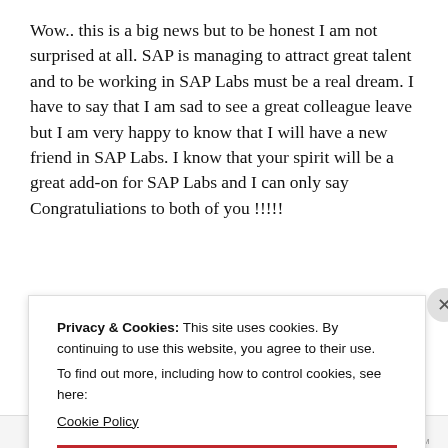Wow.. this is a big news but to be honest I am not surprised at all. SAP is managing to attract great talent and to be working in SAP Labs must be a real dream. I have to say that I am sad to see a great colleague leave but I am very happy to know that I will have a new friend in SAP Labs. I know that your spirit will be a great add-on for SAP Labs and I can only say Congratuliations to both of you !!!!!
Privacy & Cookies: This site uses cookies. By continuing to use this website, you agree to their use.
To find out more, including how to control cookies, see here:
Cookie Policy
Close and accept